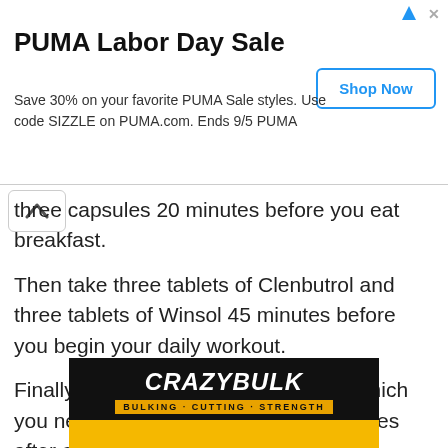[Figure (screenshot): PUMA Labor Day Sale advertisement banner with 'Shop Now' button. Text: Save 30% on your favorite PUMA Sale styles. Use code SIZZLE on PUMA.com. Ends 9/5 PUMA]
three capsules 20 minutes before you eat breakfast.
Then take three tablets of Clenbutrol and three tablets of Winsol 45 minutes before you begin your daily workout.
Finally, last but not least, Anvarol, of which you need to take three tablets 15 minutes after completing your workout.
[Figure (logo): CrazyBulk logo banner: black background with CRAZYBULK in white bold italic, subtitle BULKING · CUTTING · STRENGTH in yellow on orange bar, yellow bottom strip]